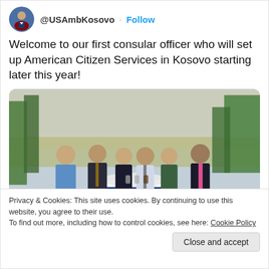@USAmbKosovo · Follow
Welcome to our first consular officer who will set up American Citizen Services in Kosovo starting later this year!
[Figure (photo): Group photo of six people standing outdoors around a round table with a red, white and blue tablecloth, with trees and open landscape in the background.]
Privacy & Cookies: This site uses cookies. By continuing to use this website, you agree to their use.
To find out more, including how to control cookies, see here: Cookie Policy
Close and accept